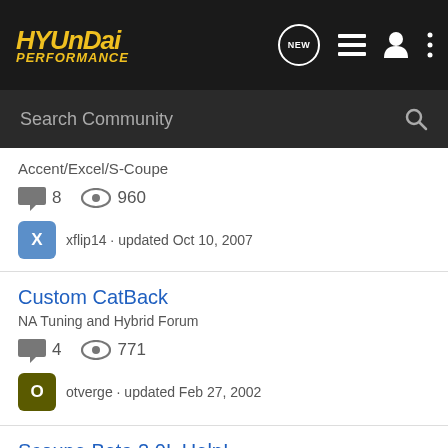Hyundai Performance
Search Community
Accent/Excel/S-Coupe
8 comments · 960 views
xflip14 · updated Oct 10, 2007
Custom CatBack
NA Tuning and Hybrid Forum
4 comments · 771 views
otverge · updated Feb 27, 2002
Scoupe Beta 2.0L Help!
NA Tuning and Hybrid Forum
5 comments · 1K views